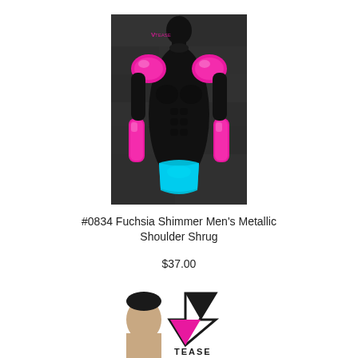[Figure (photo): Product photo: black mannequin torso wearing fuchsia/pink metallic shimmer shoulder shrug and cyan/blue briefs, against dark stone wall background. The mannequin wears pink metallic shoulder pieces and forearm cuffs.]
#0834 Fuchsia Shimmer Men's Metallic Shoulder Shrug
$37.00
[Figure (logo): VTEASE logo: stylized V with downward arrow chevron and the text TEASE below, partially visible at bottom of page. A man's head is visible to the left of the logo.]